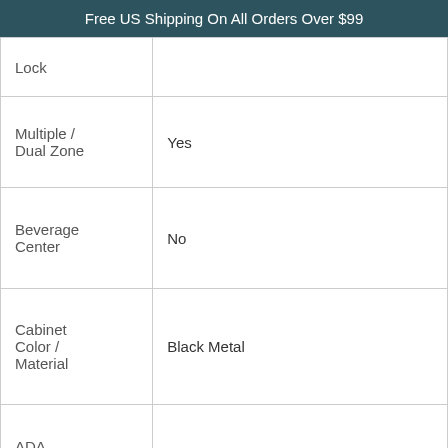Free US Shipping On All Orders Over $99
| Feature | Value |
| --- | --- |
| Lock |  |
| Multiple / Dual Zone | Yes |
| Beverage Center | No |
| Cabinet Color / Material | Black Metal |
| ADA Compliant | No |
Black Door
- 1 + ADD TO CART